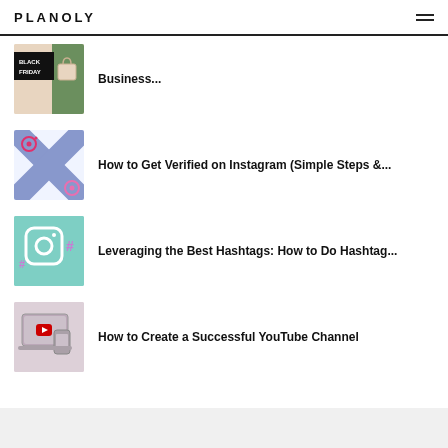PLANOLY
Business...
How to Get Verified on Instagram (Simple Steps &...
Leveraging the Best Hashtags: How to Do Hashtag...
How to Create a Successful YouTube Channel